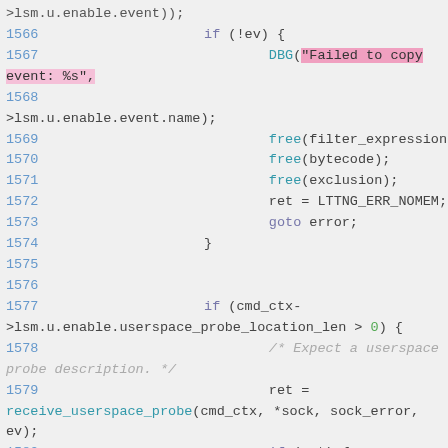Source code listing showing C code lines 1566-1582 including event handling, memory management, and userspace probe detection logic.